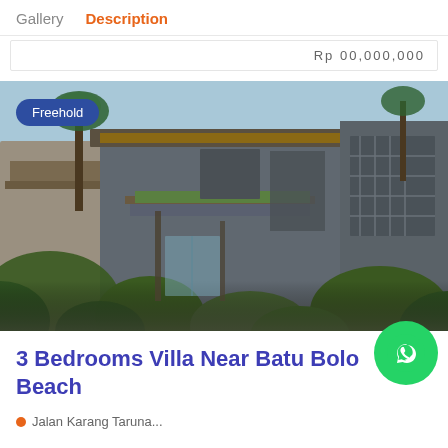Gallery   Description
Rp 00,000,000
[Figure (photo): Exterior rendering of a modern tropical villa with concrete and wood architecture, surrounded by lush tropical greenery and palm trees, with a 'Freehold' badge overlay]
3 Bedrooms Villa Near Batu Bolo Beach
Jalan Karang Taruna...